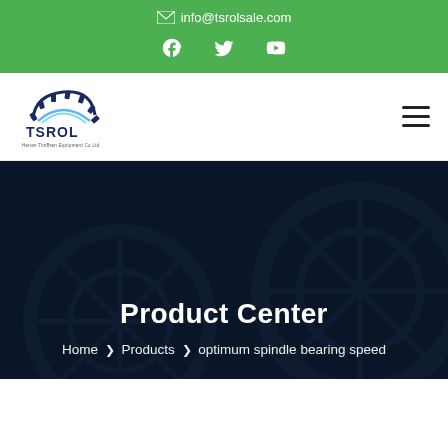✉ info@tsrolsale.com
[Figure (logo): TSROL logo with gear icon and text 'Henan TimBren Equipment Co Ltd']
Product Center
Home > Products > optimum spindle bearing speed